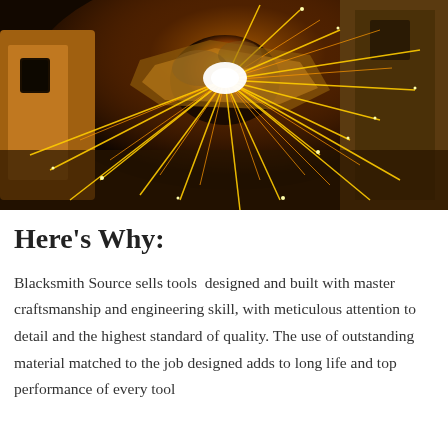[Figure (photo): Close-up photograph of metal grinding or welding with bright orange sparks flying dramatically in a dark workshop setting. Metal pieces visible on the left and right sides.]
Here's Why:
Blacksmith Source sells tools  designed and built with master craftsmanship and engineering skill, with meticulous attention to detail and the highest standard of quality. The use of outstanding material matched to the job designed adds to long life and top performance of every tool